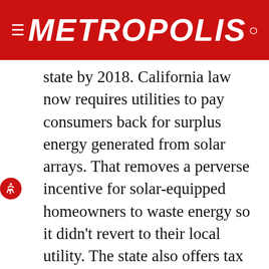METROPOLIS
state by 2018. California law now requires utilities to pay consumers back for surplus energy generated from solar arrays. That removes a perverse incentive for solar-equipped homeowners to waste energy so it didn't revert to their local utility. The state also offers tax credits to encourage the adoption of solar power in businesses and affordable-housing projects, and provides cash rebates for installing panels.
New financing options are also tipping the scales. SunRun and other companies, such